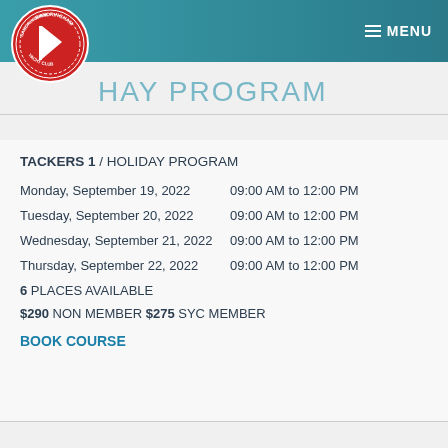MENU
[Figure (logo): Sandringham Yacht Club circular logo with red background and white sailboat/flag imagery]
HOLIDAY PROGRAM
TACKERS 1 / HOLIDAY PROGRAM
Monday, September 19, 2022 — 09:00 AM to 12:00 PM
Tuesday, September 20, 2022 — 09:00 AM to 12:00 PM
Wednesday, September 21, 2022 — 09:00 AM to 12:00 PM
Thursday, September 22, 2022 — 09:00 AM to 12:00 PM
6 PLACES AVAILABLE
$290 NON MEMBER $275 SYC MEMBER
BOOK COURSE